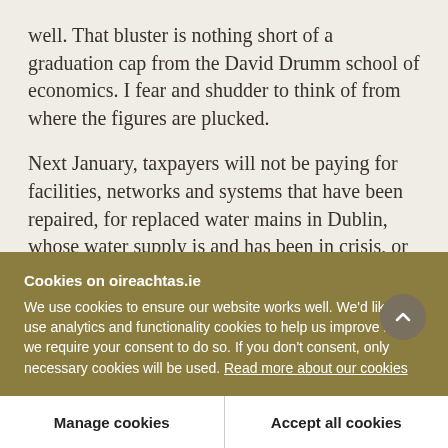well. That bluster is nothing short of a graduation cap from the David Drumm school of economics. I fear and shudder to think of from where the figures are plucked.
Next January, taxpayers will not be paying for facilities, networks and systems that have been repaired, for replaced water mains in Dublin, whose water supply is and has been in crisis, or for a network that has upgraded mains or new supply. They will be paying the exorbitant costs of metering
Cookies on oireachtas.ie
We use cookies to ensure our website works well. We'd like to use analytics and functionality cookies to help us improve it but we require your consent to do so. If you don't consent, only necessary cookies will be used. Read more about our cookies
Manage cookies
Accept all cookies